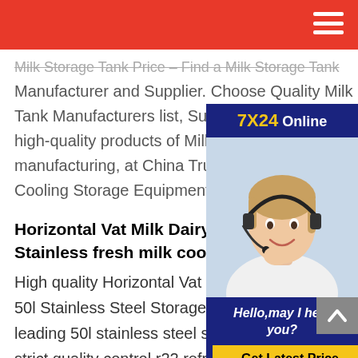Milk Storage Tank Price – Find a Milk Storage Tank Manufacturer and Supplier. Choose Quality Milk Storage Tank Manufacturers list, Suppliers, Exporters high-quality products of Milk Storage Tank manufacturing, at China Truck Manufacturers Cooling Storage Equipment
Horizontal Vat Milk Dairy And Juice Cooling Stainless fresh milk cooling storage t
High quality Horizontal Vat Milk Dairy And Juice Cooling 50l Stainless Steel Storage Tanks from China, China's leading 50l stainless steel storage tanks product, with strict quality control r22 refrigerants stainless steel storage tanks factories, producing high quality fda ss jacketed mixing tank products. Fresh Bulk Milk Cooler 3000 Ltr Dairy Storage fresh milk cooling storage
[Figure (photo): Customer service agent with headset, smiling. Overlay with '7X24 Online' header in dark blue, 'Hello, may I help you?' text, and 'Get Latest Price' yellow button.]